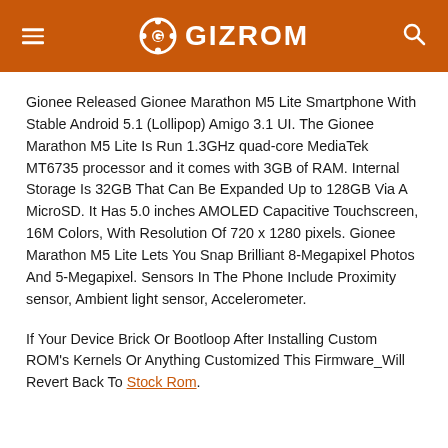GIZROM
Gionee Released Gionee Marathon M5 Lite Smartphone With Stable Android 5.1 (Lollipop) Amigo 3.1 UI. The Gionee Marathon M5 Lite Is Run 1.3GHz quad-core MediaTek MT6735 processor and it comes with 3GB of RAM. Internal Storage Is 32GB That Can Be Expanded Up to 128GB Via A MicroSD. It Has 5.0 inches AMOLED Capacitive Touchscreen, 16M Colors, With Resolution Of 720 x 1280 pixels. Gionee Marathon M5 Lite Lets You Snap Brilliant 8-Megapixel Photos And 5-Megapixel. Sensors In The Phone Include Proximity sensor, Ambient light sensor, Accelerometer.
If Your Device Brick Or Bootloop After Installing Custom ROM's Kernels Or Anything Customized This Firmware_Will Revert Back To Stock Rom.